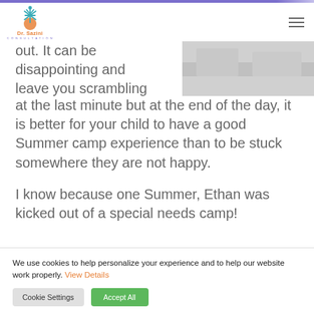[Figure (logo): Dr. Sazini Consultation logo with snowflake/person icon in teal and orange]
out. It can be disappointing and leave you scrambling at the last minute but at the end of the day, it is better for your child to have a good Summer camp experience than to be stuck somewhere they are not happy.
[Figure (photo): Grayscale image, appears to show a landscape or outdoor scene]
I know because one Summer, Ethan was kicked out of a special needs camp!
We use cookies to help personalize your experience and to help our website work properly. View Details
Cookie Settings
Accept All